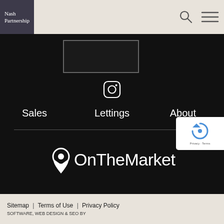[Figure (logo): Nash Partnership logo — white text on dark purple/grey square background]
[Figure (screenshot): Website header bar with search icon and hamburger menu icon on beige background]
[Figure (other): Dark rectangle placeholder image outline on black background]
[Figure (other): Instagram icon (rounded square with circle and dot) in white on black background]
Sales
Lettings
About
[Figure (logo): OnTheMarket logo — white text with location pin icon on black background]
[Figure (other): reCAPTCHA badge showing circular arrow logo, Privacy and Terms text]
Sitemap | Terms of Use | Privacy Policy
SOFTWARE, WEB DESIGN & SEO BY